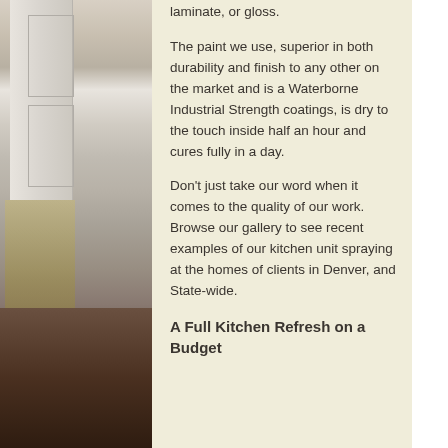[Figure (photo): Interior photo of white kitchen cabinets with panel detailing, a colorful floral curtain visible on the right side, and dark hardwood floors. The scene shows a corner of a kitchen with built-in cabinetry.]
laminate, or gloss.
The paint we use, superior in both durability and finish to any other on the market and is a Waterborne Industrial Strength coatings, is dry to the touch inside half an hour and cures fully in a day.
Don't just take our word when it comes to the quality of our work. Browse our gallery to see recent examples of our kitchen unit spraying at the homes of clients in Denver, and State-wide.
A Full Kitchen Refresh on a Budget